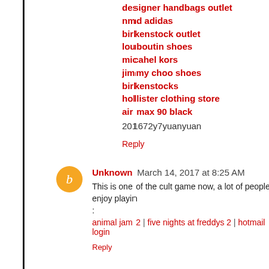designer handbags outlet
nmd adidas
birkenstock outlet
louboutin shoes
micahel kors
jimmy choo shoes
birkenstocks
hollister clothing store
air max 90 black
201672y7yuanyuan
Reply
Unknown  March 14, 2017 at 8:25 AM
This is one of the cult game now, a lot of people enjoy playing :
animal jam 2 | five nights at freddys 2 | hotmail login
Reply
Yura Amanda  April 10, 2018 at 3:20 AM
may be useful for all, helpful article once and pardon me per
Obat lambung bengkak